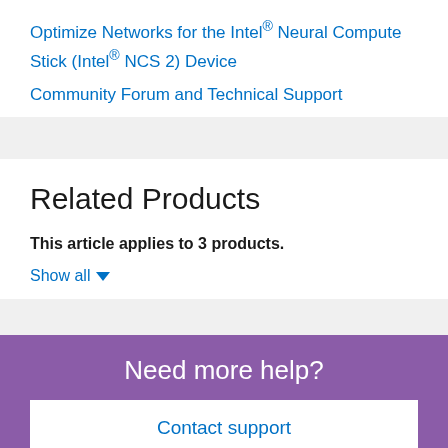Optimize Networks for the Intel® Neural Compute Stick (Intel® NCS 2) Device
Community Forum and Technical Support
Related Products
This article applies to 3 products.
Show all ▾
Need more help?
Contact support
Give Feedback